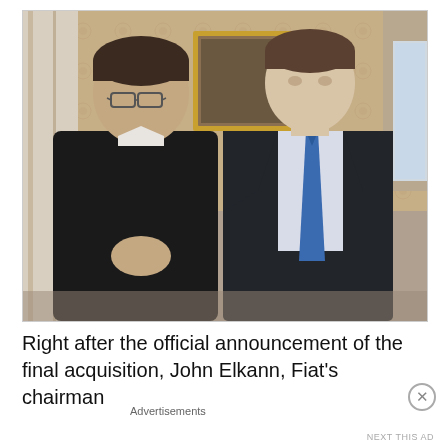[Figure (photo): Two men standing together in an ornate room. The man on the left wears a dark sweater and glasses; the man on the right wears a dark suit with a blue tie. Background shows decorative wallpaper and other people.]
Right after the official announcement of the final acquisition, John Elkann, Fiat's chairman
Advertisements